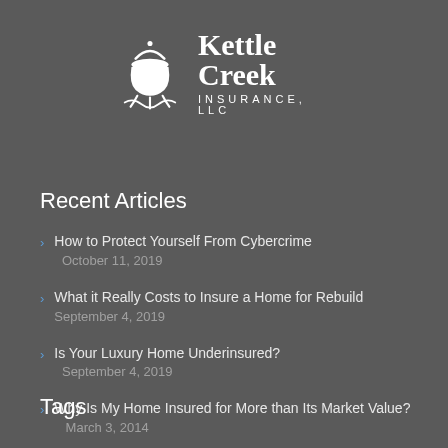[Figure (logo): Kettle Creek Insurance LLC logo with a cauldron/pot icon and company name text]
Recent Articles
How to Protect Yourself From Cybercrime  October 11, 2019
What it Really Costs to Insure a Home for Rebuild  September 4, 2019
Is Your Luxury Home Underinsured?  September 4, 2019
Why Is My Home Insured for More than Its Market Value?  March 3, 2014
Tags